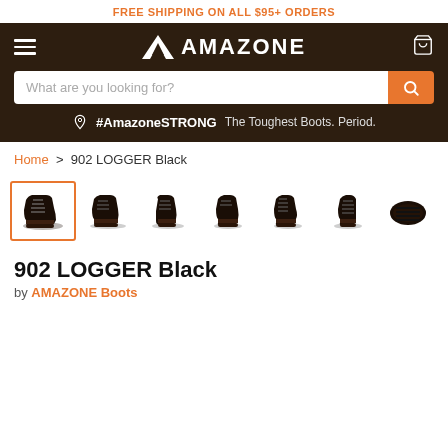FREE SHIPPING ON ALL $95+ ORDERS
[Figure (logo): AMAZONE brand logo with mountain/chevron icon and text in white on dark brown navigation bar, with hamburger menu on left and cart icon on right. Search bar below with placeholder 'What are you looking for?' and orange search button. Tagline '#AmazoneSTRONG The Toughest Boots. Period.']
Home > 902 LOGGER Black
[Figure (photo): Seven product thumbnail images of the 902 LOGGER Black boot from various angles. First image is selected (highlighted with orange border). Dark brown/black work boot with laces.]
902 LOGGER Black
by AMAZONE Boots